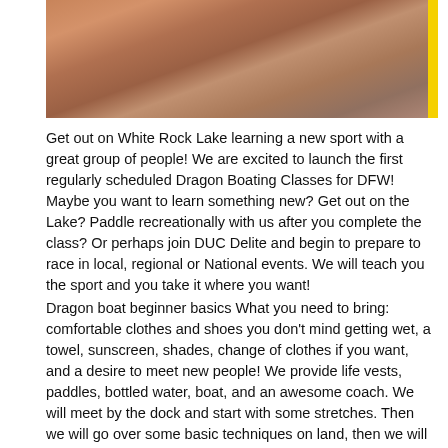[Figure (photo): Two women wearing sunglasses outdoors near water, one in a purple top and one wearing a white cap, with a yellow bar on the right edge.]
Get out on White Rock Lake learning a new sport with a great group of people!  We are excited to launch the first regularly scheduled Dragon Boating Classes for DFW!  Maybe you want to learn something new? Get out on the Lake?  Paddle recreationally with us after you complete the class?  Or perhaps join DUC Delite and begin to prepare to race in local, regional or National events.  We will teach you the sport and you take it where you want!
Dragon boat beginner basics What you need to bring: comfortable clothes and shoes you don't mind getting wet, a towel, sunscreen, shades, change of clothes if you want, and a desire to meet new people! We provide life vests, paddles, bottled water, boat, and an awesome coach. We will meet by the dock and start with some stretches. Then we will go over some basic techniques on land, then we will jump in the boat and learn on the water. No previous skill required!